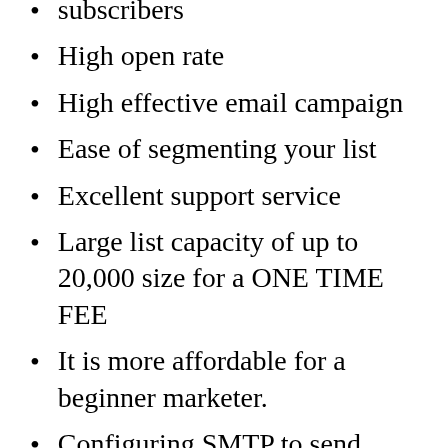subscribers
High open rate
High effective email campaign
Ease of segmenting your list
Excellent support service
Large list capacity of up to 20,000 size for a ONE TIME FEE
It is more affordable for a beginner marketer.
Configuring SMTP to send emails is easy (and we have detailed guides) – you control the price.